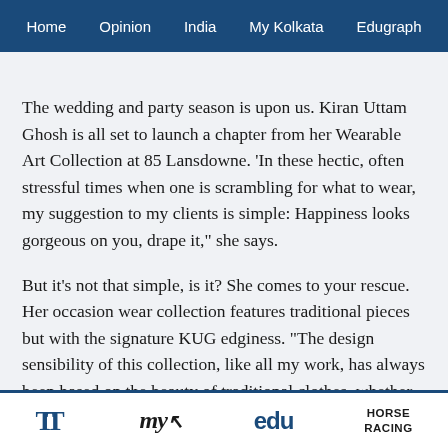Home  Opinion  India  My Kolkata  Edugraph
The wedding and party season is upon us. Kiran Uttam Ghosh is all set to launch a chapter from her Wearable Art Collection at 85 Lansdowne. 'In these hectic, often stressful times when one is scrambling for what to wear, my suggestion to my clients is simple: Happiness looks gorgeous on you, drape it,” she says.
But it's not that simple, is it? She comes to your rescue. Her occasion wear collection features traditional pieces but with the signature KUG edginess. “The design sensibility of this collection, like all my work, has always been based on the beauty of traditional clothes, whether it’s the kimono or the lungi or the sari. The aim
TT  my  edu  HORSE RACING